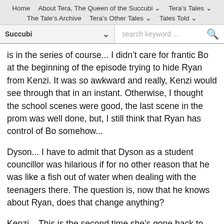Home   About Tera, The Queen of the Succubi   Tera's Tales   The Tale's Archive   Tera's Other Tales   Tales Told
Succubi   search keyword ...
is in the series of course... I didn't care for frantic Bo at the beginning of the episode trying to hide Ryan from Kenzi. It was so awkward and really, Kenzi would see through that in an instant. Otherwise, I thought the school scenes were good, the last scene in the prom was well done, but, I still think that Ryan has control of Bo somehow...
Dyson... I have to admit that Dyson as a student councillor was hilarious if for no other reason that he was like a fish out of water when dealing with the teenagers there. The question is, now that he knows about Ryan, does that change anything?
Kenzi... This is the second time she's gone back to school and, honestly, I hope that this is the last time this plot happens. It didn't feel right through most of it, though the time with Earl, both at the school and afterwards, were touching moments that were wonderful... But really Kenzi has been through enough